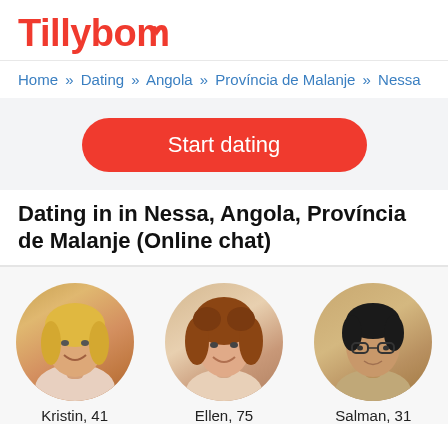Tillybom
Home » Dating » Angola » Província de Malanje » Nessa
[Figure (other): Start dating button — red rounded rectangle CTA button]
Dating in in Nessa, Angola, Província de Malanje (Online chat)
[Figure (photo): Profile photo of Kristin, 41 — circular avatar of a blonde woman smiling]
Kristin, 41
[Figure (photo): Profile photo of Ellen, 75 — circular avatar of a young woman with curly hair]
Ellen, 75
[Figure (photo): Profile photo of Salman, 31 — circular avatar of a man with glasses]
Salman, 31